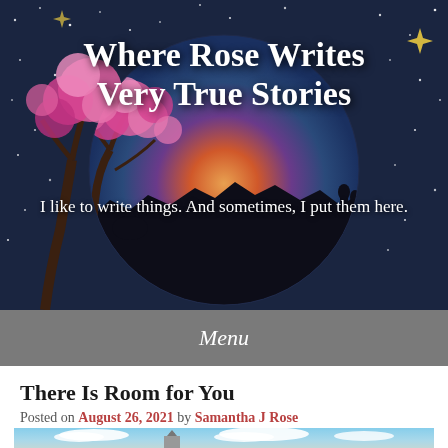[Figure (illustration): Blog header banner with dark night sky background, large circular moon showing a colorful sunset scene with silhouettes of trees and people, pink cherry blossom tree on left, golden sparkle stars]
Where Rose Writes Very True Stories
I like to write things. And sometimes, I put them here.
Menu
There Is Room for You
Posted on August 26, 2021 by Samantha J Rose
[Figure (photo): Photo of a church steeple against a blue sky with white clouds]